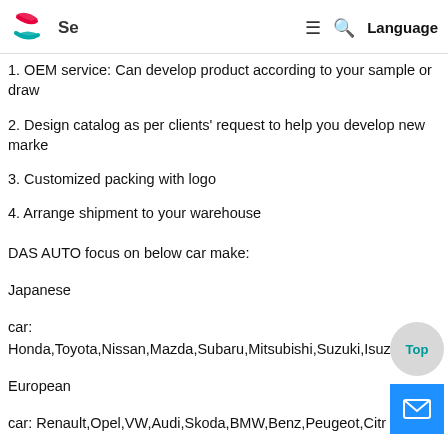Se [logo] ≡ 🔍 Language
1. OEM service: Can develop product according to your sample or draw
2. Design catalog as per clients' request to help you develop new marke
3. Customized packing with logo
4. Arrange shipment to your warehouse
DAS AUTO focus on below car make:
Japanese
car: Honda,Toyota,Nissan,Mazda,Subaru,Mitsubishi,Suzuki,Isuzu,Daiha
European
car: Renault,Opel,VW,Audi,Skoda,BMW,Benz,Peugeot,Citr Lan
Rover,Volvo
American car: Ford,Chrysler,Chevrolet,GM,Buick,Dodge,Jeep